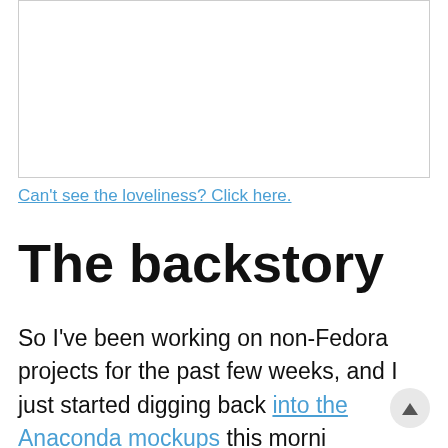[Figure (other): White rectangular image placeholder with light gray border]
Can't see the loveliness? Click here.
The backstory
So I've been working on non-Fedora projects for the past few weeks, and I just started digging back into the Anaconda mockups this morning. Coming back to UI design from a slight break